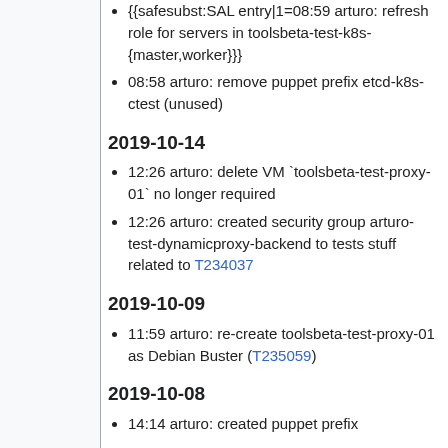{{safesubst:SAL entry|1=08:59 arturo: refresh role for servers in toolsbeta-test-k8s-{master,worker}}}
08:58 arturo: remove puppet prefix etcd-k8s-ctest (unused)
2019-10-14
12:26 arturo: delete VM `toolsbeta-test-proxy-01` no longer required
12:26 arturo: created security group arturo-test-dynamicproxy-backend to tests stuff related to T234037
2019-10-09
11:59 arturo: re-create toolsbeta-test-proxy-01 as Debian Buster (T235059)
2019-10-08
14:14 arturo: created puppet prefix